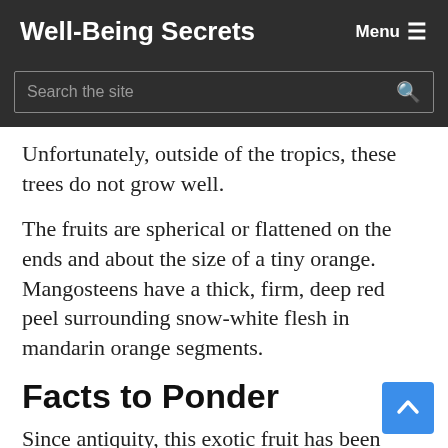Well-Being Secrets
Search the site
Unfortunately, outside of the tropics, these trees do not grow well.
The fruits are spherical or flattened on the ends and about the size of a tiny orange. Mangosteens have a thick, firm, deep red peel surrounding snow-white flesh in mandarin orange segments.
Facts to Ponder
Since antiquity, this exotic fruit has been farmed in Java, Sumatra, Indochina, and the southern